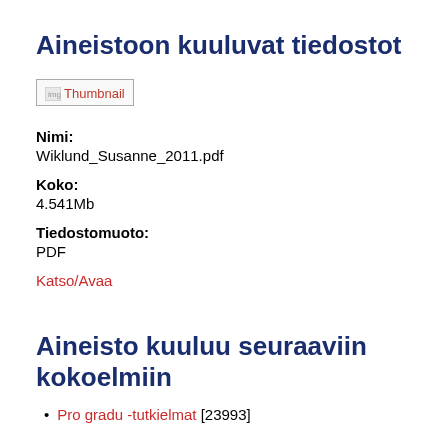Aineistoon kuuluvat tiedostot
[Figure (other): Thumbnail image placeholder with broken image icon and text 'Thumbnail']
Nimi:
Wiklund_Susanne_2011.pdf
Koko:
4.541Mb
Tiedostomuoto:
PDF
Katso/Avaa
Aineisto kuuluu seuraaviin kokoelmiin
Pro gradu -tutkielmat [23993]